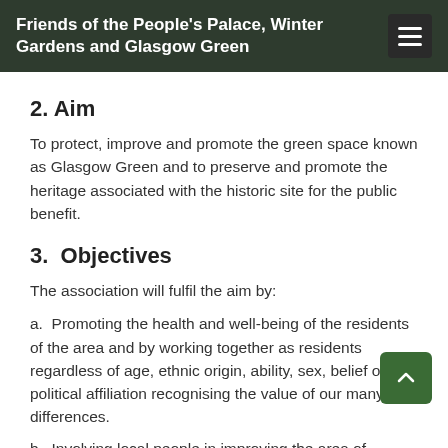Friends of the People's Palace, Winter Gardens and Glasgow Green
2. Aim
To protect, improve and promote the green space known as Glasgow Green and to preserve and promote the heritage associated with the historic site for the public benefit.
3.  Objectives
The association will fulfil the aim by:
a.  Promoting the health and well-being of the residents of the area and by working together as residents regardless of age, ethnic origin, ability, sex, belief or political affiliation recognising the value of our many differences.
b.  Involving local people in improving the area of Glasgow